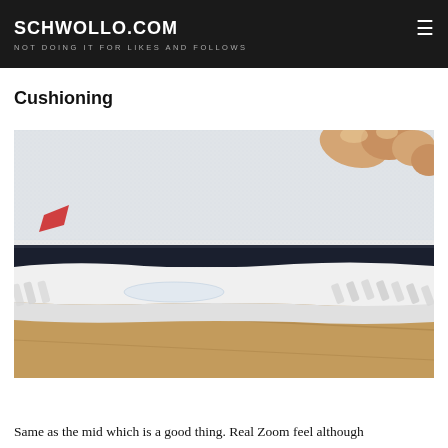SCHWOLLO.COM | NOT DOING IT FOR LIKES AND FOLLOWS
better than my Clas Ife Drive 1's which is the bottom of my rotation in terms of traction yet still not as good as the Curry 2, Rose 7 etc. Still very happy with traction overall though.
Cushioning
[Figure (photo): Close-up photo of a basketball shoe being held, showing the midsole and upper construction with white knit fabric and dark midsole stripe on a wooden floor background.]
Same as the mid which is a good thing. Real Zoom feel although